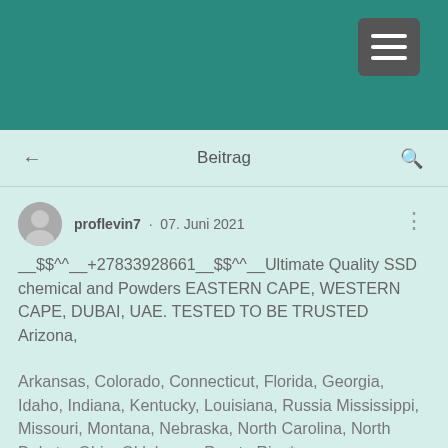[Figure (screenshot): Teal/green header bar with hamburger menu button in top-right corner]
Beitrag
proflevin7 · 07. Juni 2021
__$$^^__+27833928661__$$^^__Ultimate Quality SSD chemical and Powders EASTERN CAPE, WESTERN CAPE, DUBAI, UAE. TESTED TO BE TRUSTED Arizona,
Arkansas, Colorado, Connecticut, Florida, Georgia, Idaho, Indiana, Kentucky, Louisiana, Russia Mississippi, Missouri, Montana, Nebraska, North Carolina, North Dakota, Ohio, Oklahoma, Puerto Rico*,